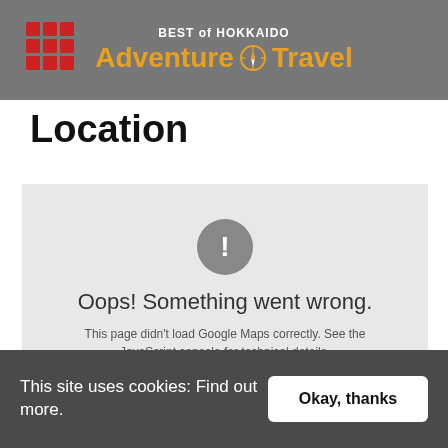BEST of HOKKAIDO Adventure Travel
Location
[Figure (screenshot): Google Maps error placeholder box with grey background, a grey circle with exclamation mark, text 'Oops! Something went wrong.' and 'This page didn't load Google Maps correctly. See the JavaScript console for technical details.']
This site uses cookies: Find out more.
Okay, thanks